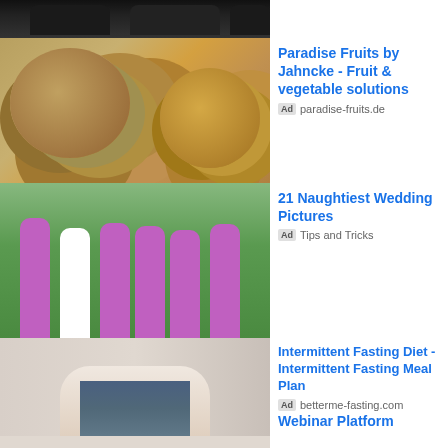[Figure (photo): Partial view of dark shoes/sneakers at top of page]
[Figure (photo): Pile of potatoes and onions/fruits and vegetables]
Paradise Fruits by Jahncke - Fruit & vegetable solutions
Ad paradise-fruits.de
[Figure (photo): Wedding party photo with bride in white dress and bridesmaids in purple dresses on green lawn]
21 Naughtiest Wedding Pictures
Ad Tips and Tricks
[Figure (photo): Person showing weight loss by pulling out waistband of oversized jeans]
Intermittent Fasting Diet - Intermittent Fasting Meal Plan
Ad betterme-fasting.com
[Figure (photo): Partial view of person's head at bottom of page]
Webinar Platform